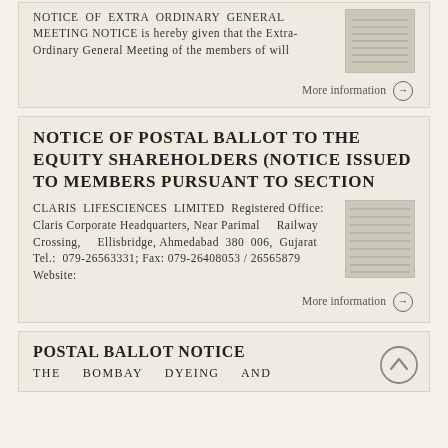NOTICE OF EXTRA ORDINARY GENERAL MEETING NOTICE is hereby given that the Extra-Ordinary General Meeting of the members of will
More information →
NOTICE OF POSTAL BALLOT TO THE EQUITY SHAREHOLDERS (NOTICE ISSUED TO MEMBERS PURSUANT TO SECTION
CLARIS LIFESCIENCES LIMITED Registered Office: Claris Corporate Headquarters, Near Parimal Railway Crossing, Ellisbridge, Ahmedabad 380 006, Gujarat Tel.: 079-26563331; Fax: 079-26408053 / 26565879 Website:
More information →
POSTAL BALLOT NOTICE
THE    BOMBAY    DYEING    AND